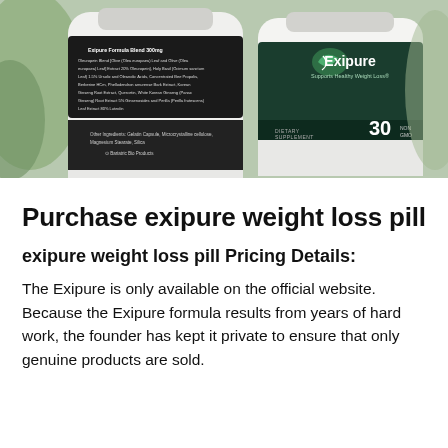[Figure (photo): Photograph of two Exipure dietary supplement bottles. The left bottle shows the back label with ingredient/nutrition facts. The right bottle shows the front label with the Exipure logo (green leaf icon) and text 'Supports Healthy Weight Loss', '30 capsules', 'Dietary Supplement'.]
Purchase exipure weight loss pill
exipure weight loss pill Pricing Details:
The Exipure is only available on the official website. Because the Exipure formula results from years of hard work, the founder has kept it private to ensure that only genuine products are sold.